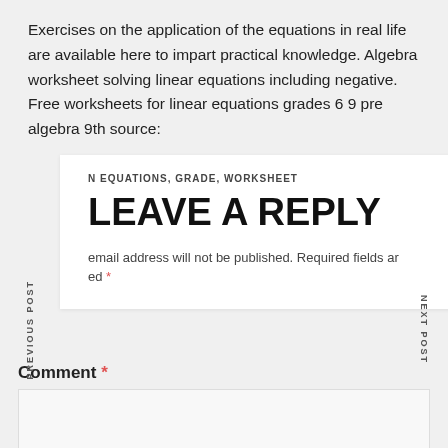Exercises on the application of the equations in real life are available here to impart practical knowledge. Algebra worksheet solving linear equations including negative. Free worksheets for linear equations grades 6 9 pre algebra 9th source:
N EQUATIONS, GRADE, WORKSHEET
LEAVE A REPLY
email address will not be published. Required fields are marked *
PREVIOUS POST
NEXT POST
Comment *